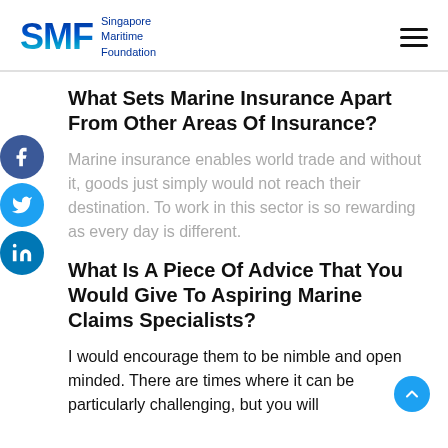SMF Singapore Maritime Foundation
What Sets Marine Insurance Apart From Other Areas Of Insurance?
Marine insurance enables world trade and without it, goods just simply would not reach their destination. To work in this sector is so rewarding as every day is different.
What Is A Piece Of Advice That You Would Give To Aspiring Marine Claims Specialists?
I would encourage them to be nimble and open minded. There are times where it can be particularly challenging, but you will